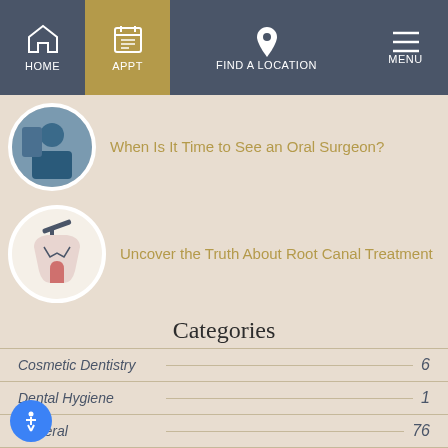HOME | APPT | FIND A LOCATION | MENU
When Is It Time to See an Oral Surgeon?
Uncover the Truth About Root Canal Treatment
Categories
Cosmetic Dentistry  6
Dental Hygiene  1
General  76
Orthodontics  4